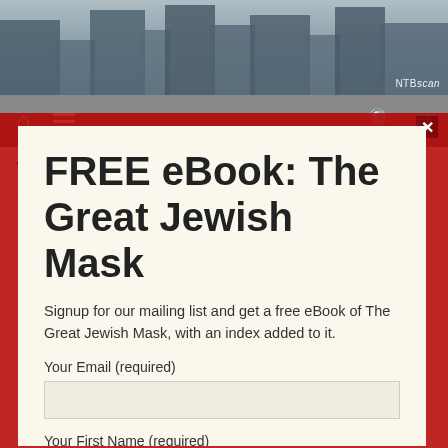[Figure (photo): Cityscape hero image with buildings, watermark NTBscan in bottom right corner]
Navigation bar with home icon, hamburger menu, search icon, and shuffle icon
Video: 911 Experts Documentary
23rd February 2020
[Figure (screenshot): Modal popup with red border and close button (x)]
FREE eBook: The Great Jewish Mask
Signup for our mailing list and get a free eBook of The Great Jewish Mask, with an index added to it.
Your Email (required)
Your First Name (required)